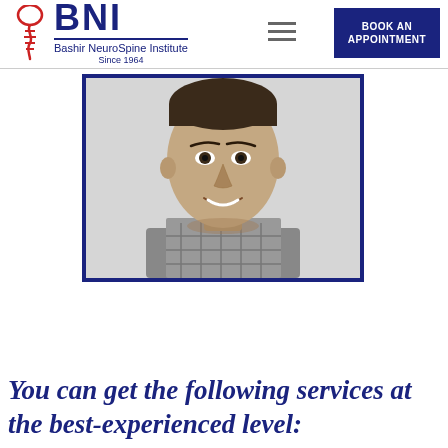[Figure (logo): BNI Bashir NeuroSpine Institute logo with spine/brain icon in red, large blue BNI text, and tagline 'Since 1964']
[Figure (photo): Black and white headshot photo of a man in a plaid shirt, framed with a dark blue border]
You can get the following services at the best-experienced level: